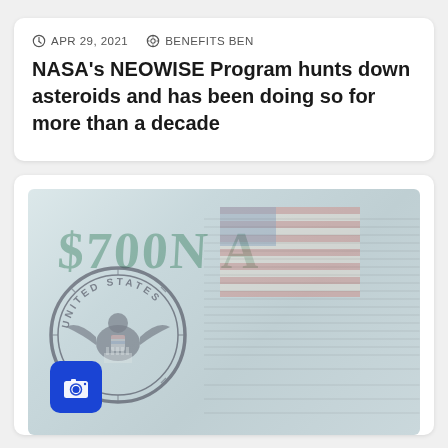APR 29, 2021   BENEFITS BEN
NASA's NEOWISE Program hunts down asteroids and has been doing so for more than a decade
[Figure (photo): A blurry close-up photograph of a US dollar bill showing the Federal Reserve seal reading 'UNITED STATES', an American flag watermark, green text, and fine print. A blue camera icon button is overlaid in the bottom-left corner.]